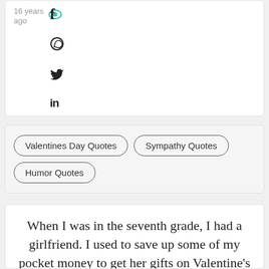16 years ago
[Figure (infographic): Social share icons: Facebook (f), WhatsApp, Twitter bird, LinkedIn (in)]
Valentines Day Quotes
Sympathy Quotes
Humor Quotes
When I was in the seventh grade, I had a girlfriend. I used to save up some of my pocket money to get her gifts on Valentine's Day.